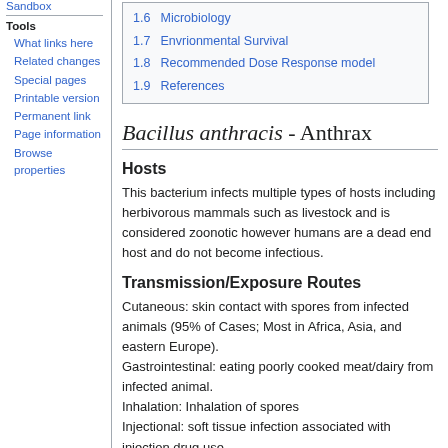Sandbox
Tools
What links here
Related changes
Special pages
Printable version
Permanent link
Page information
Browse properties
| 1.6 Microbiology |
| 1.7 Envrionmental Survival |
| 1.8 Recommended Dose Response model |
| 1.9 References |
Bacillus anthracis - Anthrax
Hosts
This bacterium infects multiple types of hosts including herbivorous mammals such as livestock and is considered zoonotic however humans are a dead end host and do not become infectious.
Transmission/Exposure Routes
Cutaneous: skin contact with spores from infected animals (95% of Cases; Most in Africa, Asia, and eastern Europe).
Gastrointestinal: eating poorly cooked meat/dairy from infected animal.
Inhalation: Inhalation of spores
Injectional: soft tissue infection associated with injection drug use.